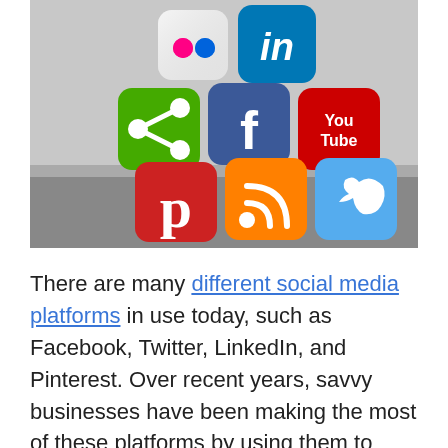[Figure (illustration): 3D rendered social media platform logos as colorful cube icons: Flickr (white cube with pink dots), LinkedIn (blue cube with 'in'), a green share icon cube, Facebook (dark blue cube with 'f'), YouTube (red cube with 'You Tube'), Pinterest (red cube with 'P'), RSS feed (orange cube with wifi symbol), Twitter (cyan cube with bird logo), arranged in a pyramid stack on a gray surface.]
There are many different social media platforms in use today, such as Facebook, Twitter, LinkedIn, and Pinterest. Over recent years, savvy businesses have been making the most of these platforms by using them to their advantage in a